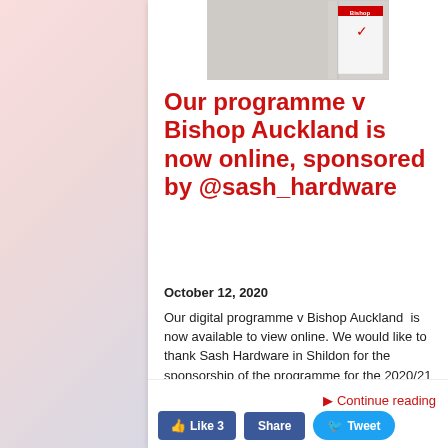[Figure (photo): Cropped image of a match programme showing a red and white badge/booklet]
Our programme v Bishop Auckland is now online, sponsored by @sash_hardware
October 12, 2020
Our digital programme v Bishop Auckland  is now available to view online. We would like to thank Sash Hardware in Shildon for the sponsorship of the programme for the 2020/21 Season. The programme is published on the day of the match to members of the 100 Club, which is a weekly draw with a chance […]
▶ Continue reading